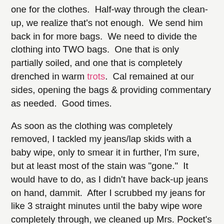one for the clothes.  Half-way through the clean-up, we realize that's not enough.  We send him back in for more bags.  We need to divide the clothing into TWO bags.  One that is only partially soiled, and one that is completely drenched in warm trots.  Cal remained at our sides, opening the bags & providing commentary as needed.  Good times.
As soon as the clothing was completely removed, I tackled my jeans/lap skids with a baby wipe, only to smear it in further, I'm sure, but at least most of the stain was "gone."  It would have to do, as I didn't have back-up jeans on hand, dammit.  After I scrubbed my jeans for like 3 straight minutes until the baby wipe wore completely through, we cleaned up Mrs. Pocket's cling-ons.  27 baby wipes later, swabbing from mid-back to ankles, we had 'er whooped.  (as well as ourselves, but that's a whole 'nother story...)
Our daughter is now nekked, in a new, fresh, clean diaper, and ready to take on the world after her run-in with Mr. Hankey, who clearly reigned victorious.  I dig to the bottom of the diaper bag, which I admit, I've not cleaned out or "updated" in quite some time.  I seem to just toss a few new